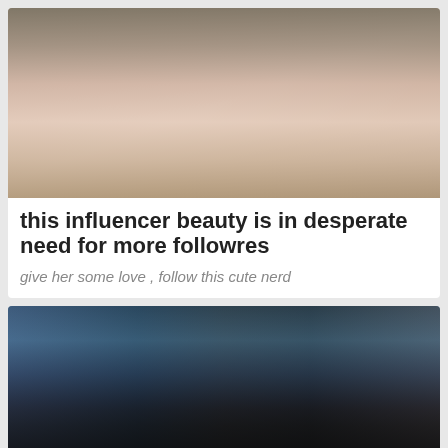[Figure (photo): Person reclining on a white/cream sofa, wearing a dark top and gray pants, photographed indoors.]
this influencer beauty is in desperate need for more followres
give her some love , follow this cute nerd
[Figure (photo): Person outdoors wearing a black floral dress with yellow flowers, against a blue sky and trees.]